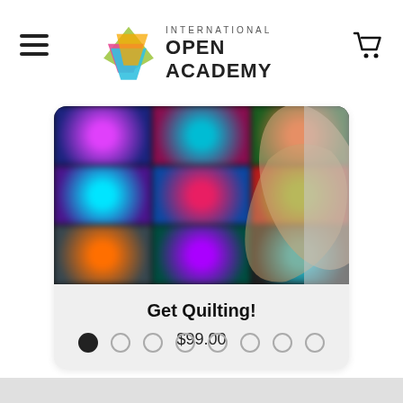International Open Academy
[Figure (screenshot): Screenshot of International Open Academy website showing a course card for 'Get Quilting!' priced at $99.00, with a blurred image of quilt patterns and a hand, and carousel navigation dots below.]
Get Quilting!
$99.00